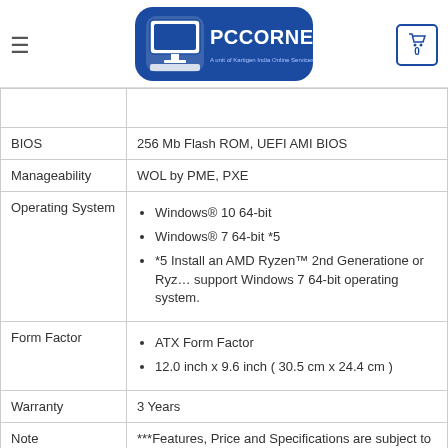[Figure (logo): PCCORNER.IN logo - blue rounded rectangle with computer icon and text 'PCCORNER.IN' and 'A unit of Kartigen India Online Services']
| Property | Value |
| --- | --- |
|  |  |
| BIOS | 256 Mb Flash ROM, UEFI AMI BIOS |
| Manageability | WOL by PME, PXE |
| Operating System | Windows® 10 64-bit | Windows® 7 64-bit *5 | *5 Install an AMD Ryzen™ 2nd Generatione or Ryzen... support Windows 7 64-bit operating system. |
| Form Factor | ATX Form Factor | 12.0 inch x 9.6 inch ( 30.5 cm x 24.4 cm ) |
| Warranty | 3 Years |
| Note | ***Features, Price and Specifications are subject to ch... |